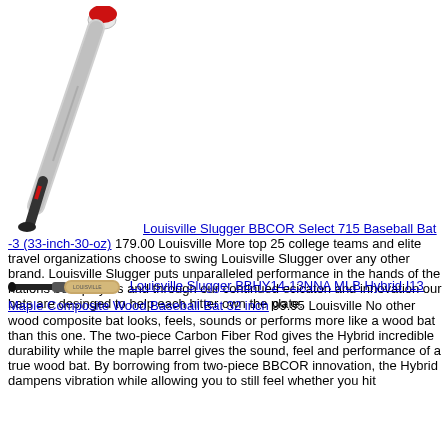[Figure (photo): Louisville Slugger BBCOR Select 715 baseball bat photo — diagonal bat image]
Louisville Slugger BBCOR Select 715 Baseball Bat -3 (33-inch-30-oz) 179.00 Louisville More top 25 college teams and elite travel organizations choose to swing Louisville Slugger over any other brand. Louisville Slugger puts unparalleled performance in the hands of the nations best players and through our continued ecicaton and innovation our bats are desinged to help each hitter own the plate.
[Figure (photo): Louisville Slugger BBHY14-13NNA MLB Hybrid I13 Maple Composite Wood Baseball Bat — horizontal bat image]
Louisville Slugger BBHY14-13NNA MLB Hybrid I13 Maple Composite Wood Baseball Bat 32 inch 99.95 Louisville No other wood composite bat looks, feels, sounds or performs more like a wood bat than this one. The two-piece Carbon Fiber Rod gives the Hybrid incredible durability while the maple barrel gives the sound, feel and performance of a true wood bat. By borrowing from two-piece BBCOR innovation, the Hybrid dampens vibration while allowing you to still feel whether you hit